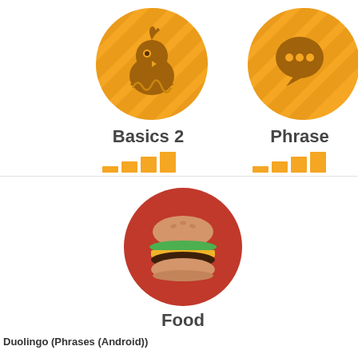[Figure (illustration): Basics 2 lesson icon: golden yellow circle with diagonal stripe pattern and a hatching chick icon in brown]
Basics 2
[Figure (illustration): Phrases lesson icon: golden yellow circle with diagonal stripe pattern and a speech bubble icon in brown]
Phrase
[Figure (illustration): Food lesson icon: red circle with a burger/hamburger emoji icon]
Food
Duolingo (Phrases (Android))